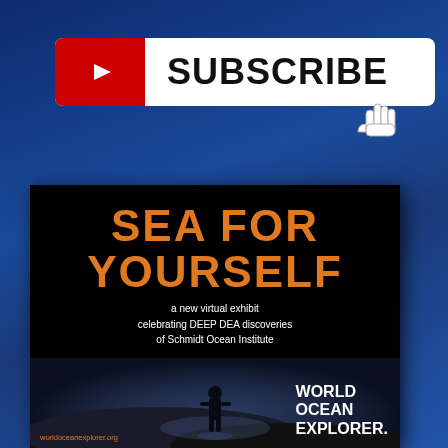[Figure (infographic): YouTube-style SUBSCRIBE button with red play icon on the left and bold black SUBSCRIBE text on white rounded rectangle, with a cursor/hand pointer icon below pointing at the button]
[Figure (infographic): Book/poster cover for 'SEA FOR YOURSELF' virtual exhibit celebrating DEEP DEA discoveries of Schmidt Ocean Institute, with orange title text on black background, silhouette of person standing on dark ocean floor, and World Ocean Explorer branding in bottom right. worldoceanexplorer.org shown at bottom left in orange.]